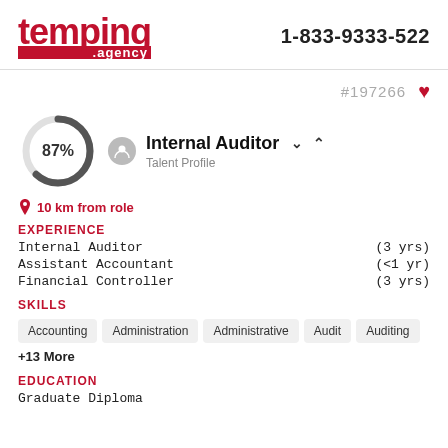[Figure (logo): temping.agency logo in red with phone number 1-833-9333-522]
#197266
Internal Auditor
Talent Profile
10 km from role
EXPERIENCE
Internal Auditor (3 yrs)
Assistant Accountant (<1 yr)
Financial Controller (3 yrs)
SKILLS
Accounting
Administration
Administrative
Audit
Auditing
+13 More
EDUCATION
Graduate Diploma